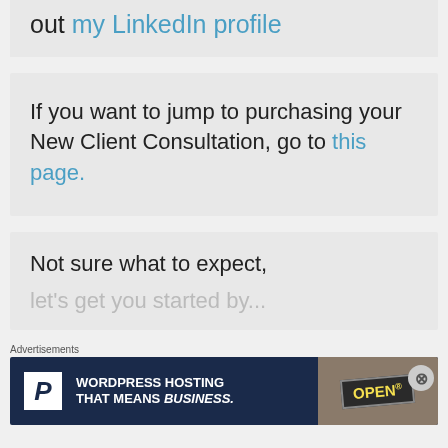out my LinkedIn profile
If you want to jump to purchasing your New Client Consultation, go to this page.
Not sure what to expect, let's get you started by...
Advertisements
[Figure (other): Advertisement banner for WordPress Hosting with text 'WORDPRESS HOSTING THAT MEANS BUSINESS.' and an OPEN sign image on the right]